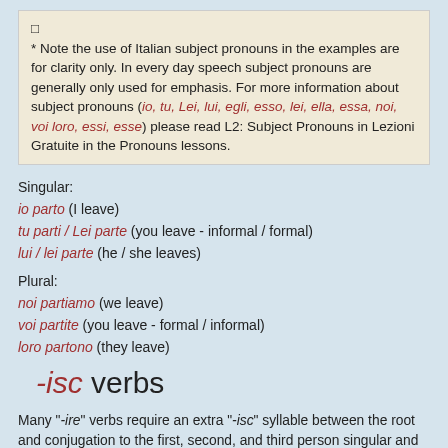* Note the use of Italian subject pronouns in the examples are for clarity only. In every day speech subject pronouns are generally only used for emphasis. For more information about subject pronouns (io, tu, Lei, lui, egli, esso, lei, ella, essa, noi, voi loro, essi, esse) please read L2: Subject Pronouns in Lezioni Gratuite in the Pronouns lessons.
Singular:
io parto (I leave)
tu parti / Lei parte (you leave - informal / formal)
lui / lei parte (he / she leaves)
Plural:
noi partiamo (we leave)
voi partite (you leave - formal / informal)
loro partono (they leave)
-isc verbs
Many "-ire" verbs require an extra "-isc" syllable between the root and conjugation to the first, second, and third person singular and third person plural. The -isc forms are considered irregular.
The conjugation of the verb Capire (to understand)